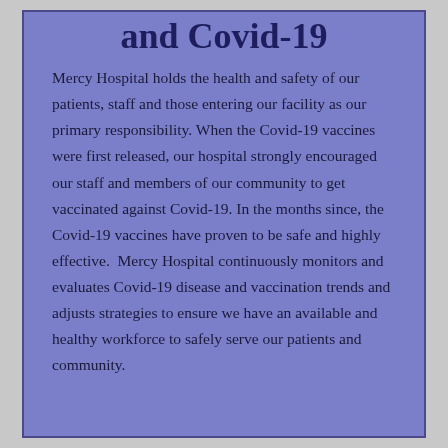and Covid-19
Mercy Hospital holds the health and safety of our patients, staff and those entering our facility as our primary responsibility. When the Covid-19 vaccines were first released, our hospital strongly encouraged our staff and members of our community to get vaccinated against Covid-19. In the months since, the Covid-19 vaccines have proven to be safe and highly effective.  Mercy Hospital continuously monitors and evaluates Covid-19 disease and vaccination trends and adjusts strategies to ensure we have an available and healthy workforce to safely serve our patients and community.